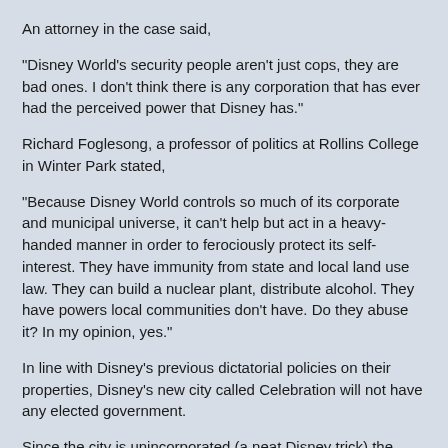An attorney in the case said,
"Disney World's security people aren't just cops, they are bad ones. I don't think there is any corporation that has ever had the perceived power that Disney has."
Richard Foglesong, a professor of politics at Rollins College in Winter Park stated,
"Because Disney World controls so much of its corporate and municipal universe, it can't help but act in a heavy-handed manner in order to ferociously protect its self-interest. They have immunity from state and local land use law. They can build a nuclear plant, distribute alcohol. They have powers local communities don't have. Do they abuse it? In my opinion, yes."
In line with Disney's previous dictatorial policies on their properties, Disney's new city called Celebration will not have any elected government.
Since the city is unincorporated (a neat Disney trick) the mayor is appointed by Disney. Several Disney "quasi-government"' bodies control citizens of the city.